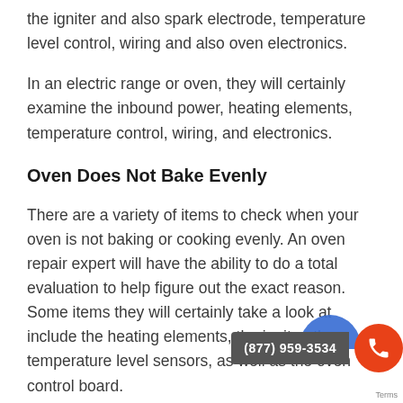the igniter and also spark electrode, temperature level control, wiring and also oven electronics.
In an electric range or oven, they will certainly examine the inbound power, heating elements, temperature control, wiring, and electronics.
Oven Does Not Bake Evenly
There are a variety of items to check when your oven is not baking or cooking evenly. An oven repair expert will have the ability to do a total evaluation to help figure out the exact reason. Some items they will certainly take a look at include the heating elements, the igniter, the temperature level sensors, as well as the oven control board.
If you have a convection oven then some added